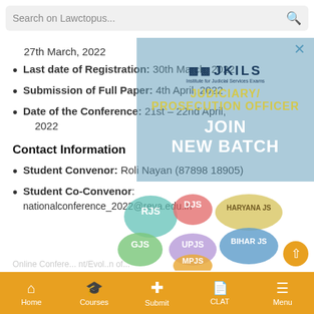Search on Lawctopus...
27th March, 2022
Last date of Registration: 30th March, 2022
Submission of Full Paper: 4th April, 2022
Date of the Conference: 21st – 22nd April, 2022
Contact Information
Student Convenor: Roli Nayan (87898 18905)
Student Co-Convenor: nationalconference_2022@reva.edu.in
[Figure (advertisement): JKILS overlay advertisement showing JUDICIARY/PROSECUTION OFFICER JOIN NEW BATCH]
[Figure (infographic): Colorful bubble infographic showing RJS, DJS, HARYANA JS, GJS, UPJS, BIHAR JS, MPJS state judicial service abbreviations]
Home  Courses  Submit  CLAT  Menu